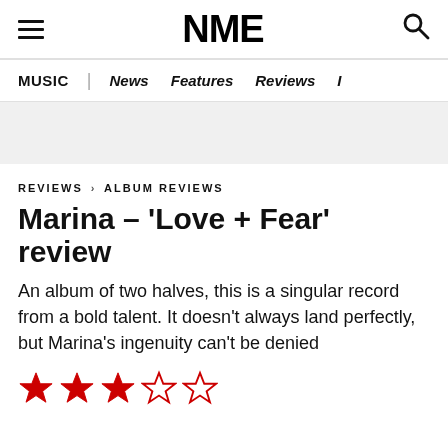NME
MUSIC | News Features Reviews I
REVIEWS › ALBUM REVIEWS
Marina – 'Love + Fear' review
An album of two halves, this is a singular record from a bold talent. It doesn't always land perfectly, but Marina's ingenuity can't be denied
[Figure (other): 3 out of 5 stars rating shown as 3 filled red stars and 2 empty red-outlined stars]